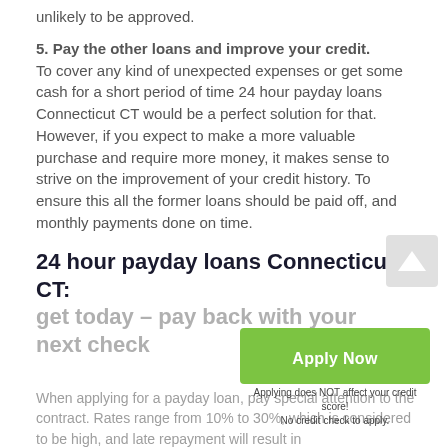unlikely to be approved.
5. Pay the other loans and improve your credit. To cover any kind of unexpected expenses or get some cash for a short period of time 24 hour payday loans Connecticut CT would be a perfect solution for that. However, if you expect to make a more valuable purchase and require more money, it makes sense to strive on the improvement of your credit history. To ensure this all the former loans should be paid off, and monthly payments done on time.
24 hour payday loans Connecticut CT: get today – pay back with your next check
[Figure (other): Green Apply Now button with sub-text: Applying does NOT affect your credit score! No credit check to apply.]
When applying for a payday loan, pay special attention to the contract. Rates range from 10% to 30%, which is considered to be high, and late repayment will result in